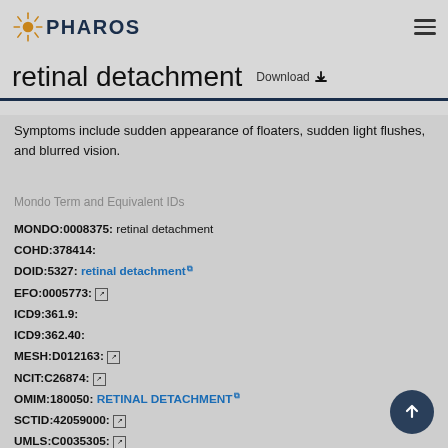PHAROS
retinal detachment  Download
Symptoms include sudden appearance of floaters, sudden light flushes, and blurred vision.
Mondo Term and Equivalent IDs
MONDO:0008375:  retinal detachment
COHD:378414:
DOID:5327: retinal detachment [external link]
EFO:0005773: [external link]
ICD9:361.9:
ICD9:362.40:
MESH:D012163: [external link]
NCIT:C26874: [external link]
OMIM:180050: RETINAL DETACHMENT [external link]
SCTID:42059000: [external link]
UMLS:C0035305: [external link]